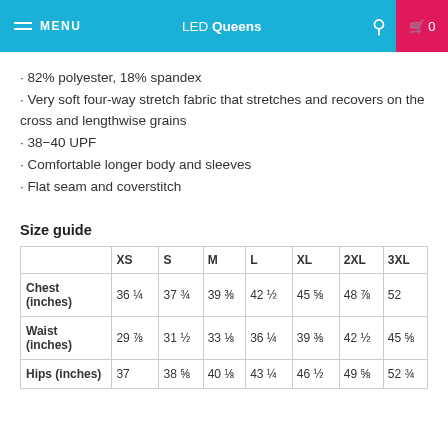MENU   LED Queens   0
· 82% polyester, 18% spandex
· Very soft four-way stretch fabric that stretches and recovers on the cross and lengthwise grains
· 38−40 UPF
· Comfortable longer body and sleeves
· Flat seam and coverstitch
Size guide
|  | XS | S | M | L | XL | 2XL | 3XL |
| --- | --- | --- | --- | --- | --- | --- | --- |
| Chest (inches) | 36 ¼ | 37 ¾ | 39 ⅜ | 42 ½ | 45 ⅝ | 48 ⅞ | 52 |
| Waist (inches) | 29 ⅞ | 31 ½ | 33 ⅛ | 36 ¼ | 39 ⅜ | 42 ½ | 45 ⅝ |
| Hips (inches) | 37 | 38 ⅝ | 40 ⅛ | 43 ¼ | 46 ½ | 49 ⅝ | 52 ¾ |